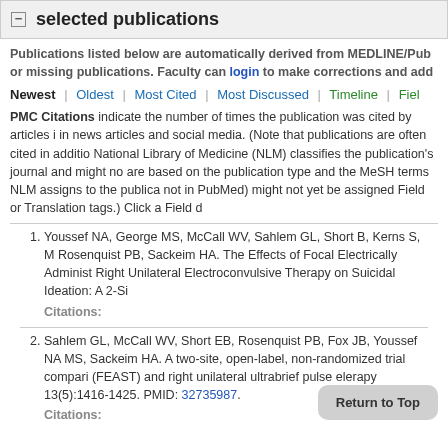selected publications
Publications listed below are automatically derived from MEDLINE/PubMed or missing publications. Faculty can login to make corrections and add...
Newest | Oldest | Most Cited | Most Discussed | Timeline | Field...
PMC Citations indicate the number of times the publication was cited by articles in news articles and social media. (Note that publications are often cited in addition to National Library of Medicine (NLM) classifies the publication's journal and might not are based on the publication type and the MeSH terms NLM assigns to the publications not in PubMed) might not yet be assigned Field or Translation tags.) Click a Field d...
Youssef NA, George MS, McCall WV, Sahlem GL, Short B, Kerns S, M... Rosenquist PB, Sackeim HA. The Effects of Focal Electrically Administered Right Unilateral Electroconvulsive Therapy on Suicidal Ideation: A 2-Si...
Citations:
Sahlem GL, McCall WV, Short EB, Rosenquist PB, Fox JB, Youssef NA... MS, Sackeim HA. A two-site, open-label, non-randomized trial comparing (FEAST) and right unilateral ultrabrief pulse electroconvulsive therapy 13(5):1416-1425. PMID: 32735987.
Citations: